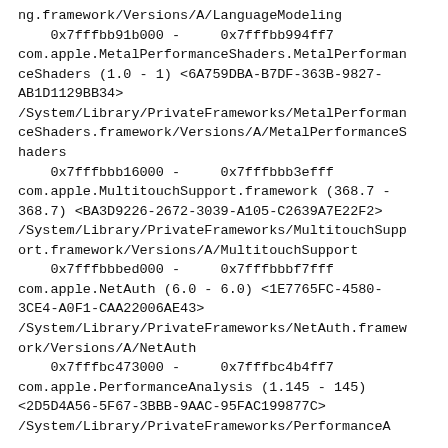ng.framework/Versions/A/LanguageModeling
    0x7fffbb91b000 -     0x7fffbb994ff7 com.apple.MetalPerformanceShaders.MetalPerformanceShaders (1.0 - 1) <6A759DBA-B7DF-363B-9827-AB1D1129BB34> /System/Library/PrivateFrameworks/MetalPerformanceShaders.framework/Versions/A/MetalPerformanceShaders
    0x7fffbbb16000 -     0x7fffbbb3efff com.apple.MultitouchSupport.framework (368.7 - 368.7) <BA3D9226-2672-3039-A105-C2639A7E22F2> /System/Library/PrivateFrameworks/MultitouchSupport.framework/Versions/A/MultitouchSupport
    0x7fffbbbed000 -     0x7fffbbbf7fff com.apple.NetAuth (6.0 - 6.0) <1E7765FC-4580-3CE4-A0F1-CAA22006AE43> /System/Library/PrivateFrameworks/NetAuth.framework/Versions/A/NetAuth
    0x7fffbc473000 -     0x7fffbc4b4ff7 com.apple.PerformanceAnalysis (1.145 - 145) <2D5D4A56-5F67-3BBB-9AAC-95FAC199877C> /System/Library/PrivateFrameworks/PerformanceA...